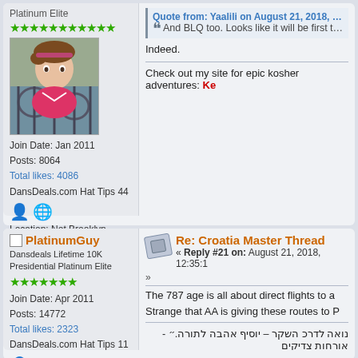Platinum Elite
[Figure (photo): Avatar photo of a young child in pink, behind decorative iron fence]
Join Date: Jan 2011
Posts: 8064
Total likes: 4086
DansDeals.com Hat Tips 44
Location: Not Brooklyn
Quote from: Yaalili on August 21, 2018, 10:38:3
And BLQ too. Looks like it will be first transatlant
Indeed.
Check out my site for epic kosher adventures: K
PlatinumGuy
Dansdeals Lifetime 10K Presidential Platinum Elite
Join Date: Apr 2011
Posts: 14772
Total likes: 2323
DansDeals.com Hat Tips 11
Re: Croatia Master Thread
Reply #21 on: August 21, 2018, 12:35:1
The 787 age is all about direct flights to a
Strange that AA is giving these routes to P
נואה לדרכ השקר – יוסיף אהבה לתורה.״ - אורחות צדיקים